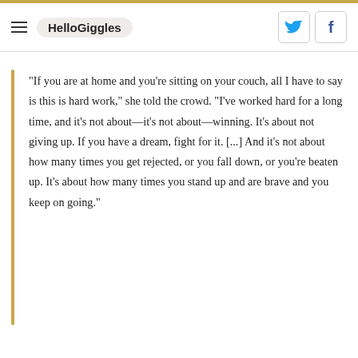HelloGiggles
"If you are at home and you're sitting on your couch, all I have to say is this is hard work," she told the crowd. "I've worked hard for a long time, and it's not about—it's not about—winning. It's about not giving up. If you have a dream, fight for it. [...] And it's not about how many times you get rejected, or you fall down, or you're beaten up. It's about how many times you stand up and are brave and you keep on going."